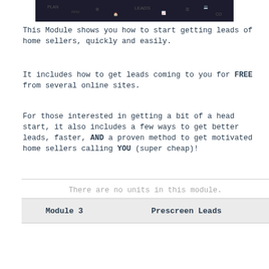[Figure (photo): Dark chalkboard image with planning/whiteboard icons and text]
This Module shows you how to start getting leads of home sellers, quickly and easily.
It includes how to get leads coming to you for FREE from several online sites.
For those interested in getting a bit of a head start, it also includes a few ways to get better leads, faster, AND a proven method to get motivated home sellers calling YOU (super cheap)!
There are no units in this module.
| Module 3 | Prescreen Leads |
| --- | --- |